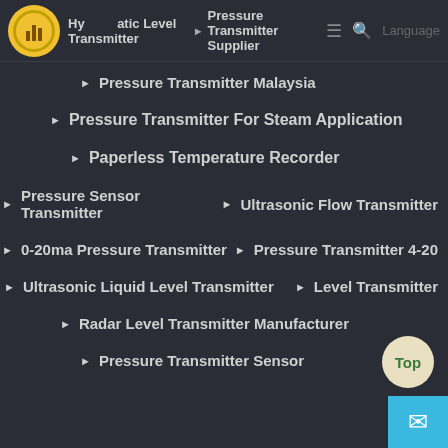Hydrostatic Level Transmitter ▶ Pressure Transmitter Supplier  Language
▶ Pressure Transmitter Malaysia
▶ Pressure Transmitter For Steam Application
▶ Paperless Temperature Recorder
▶ Pressure Sensor Transmitter   ▶ Ultrasonic Flow Transmitter
▶ 0-20ma Pressure Transmitter   ▶ Pressure Transmitter 4-20
▶ Ultrasonic Liquid Level Transmitter   ▶ Level Transmitter
▶ Radar Level Transmitter Manufacturer
▶ Pressure Transmitter Sensor